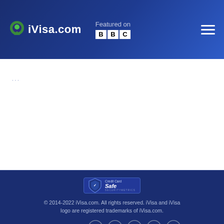iVisa.com — Featured on BBC
iVisa News
[Figure (logo): SecurityMetrics Credit Card Safe badge]
© 2014-2022 iVisa.com. All rights reserved. iVisa and iVisa logo are registered trademarks of iVisa.com.
Connect with us: